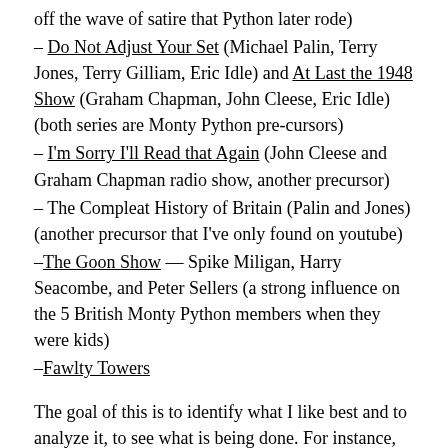off the wave of satire that Python later rode)
– Do Not Adjust Your Set (Michael Palin, Terry Jones, Terry Gilliam, Eric Idle) and At Last the 1948 Show (Graham Chapman, John Cleese, Eric Idle) (both series are Monty Python pre-cursors)
– I'm Sorry I'll Read that Again (John Cleese and Graham Chapman radio show, another precursor)
– The Compleat History of Britain (Palin and Jones) (another precursor that I've only found on youtube)
–The Goon Show — Spike Miligan, Harry Seacombe, and Peter Sellers (a strong influence on the 5 British Monty Python members when they were kids)
–Fawlty Towers
The goal of this is to identify what I like best and to analyze it, to see what is being done. For instance, how to Martin and Izzard fill time when they've forgotten what's next? What do you do if a joke fails? How do you make